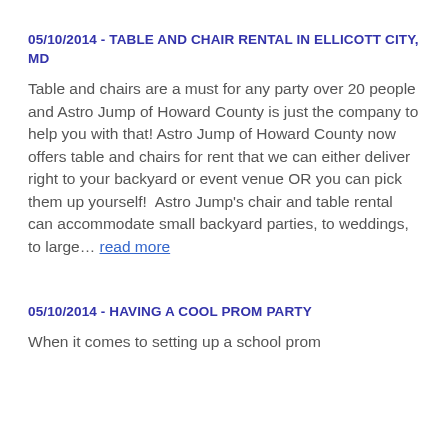05/10/2014 - TABLE AND CHAIR RENTAL IN ELLICOTT CITY, MD
Table and chairs are a must for any party over 20 people and Astro Jump of Howard County is just the company to help you with that! Astro Jump of Howard County now offers table and chairs for rent that we can either deliver right to your backyard or event venue OR you can pick them up yourself!  Astro Jump's chair and table rental can accommodate small backyard parties, to weddings, to large… read more
05/10/2014 - HAVING A COOL PROM PARTY
When it comes to setting up a school prom